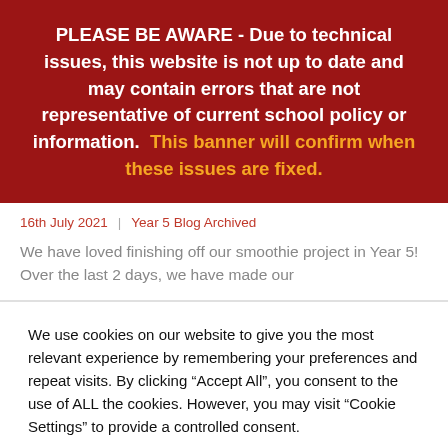PLEASE BE AWARE - Due to technical issues, this website is not up to date and may contain errors that are not representative of current school policy or information. This banner will confirm when these issues are fixed.
16th July 2021 | Year 5 Blog Archived
We have loved finishing off our smoothie project in Year 5! Over the last 2 days, we have made our
We use cookies on our website to give you the most relevant experience by remembering your preferences and repeat visits. By clicking "Accept All", you consent to the use of ALL the cookies. However, you may visit "Cookie Settings" to provide a controlled consent.